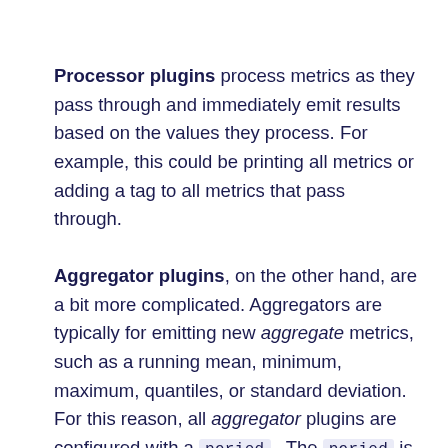Processor plugins process metrics as they pass through and immediately emit results based on the values they process. For example, this could be printing all metrics or adding a tag to all metrics that pass through.
Aggregator plugins, on the other hand, are a bit more complicated. Aggregators are typically for emitting new aggregate metrics, such as a running mean, minimum, maximum, quantiles, or standard deviation. For this reason, all aggregator plugins are configured with a period. The period is the size of the window of metrics that each